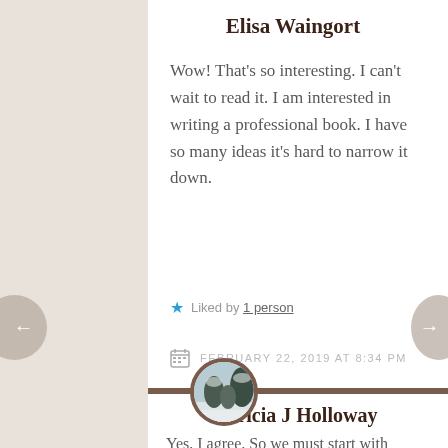Elisa Waingort
Wow! That's so interesting. I can't wait to read it. I am interested in writing a professional book. I have so many ideas it's hard to narrow it down.
Liked by 1 person
FEBRUARY 22, 2019 AT 8:34 PM
[Figure (photo): Circular avatar photo showing a snowy winter landscape scene with trees]
Patricia J Holloway
Yes, I agree. So we must start with one…